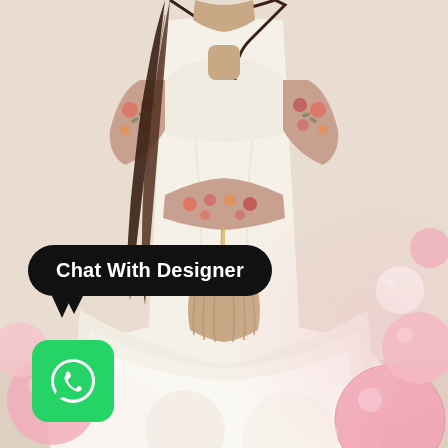[Figure (photo): A woman wearing a white/cream layered saree with floral embroidered blouse and belt, standing in front of a beige background with pink and white balloons in the lower corners]
Chat With Designer